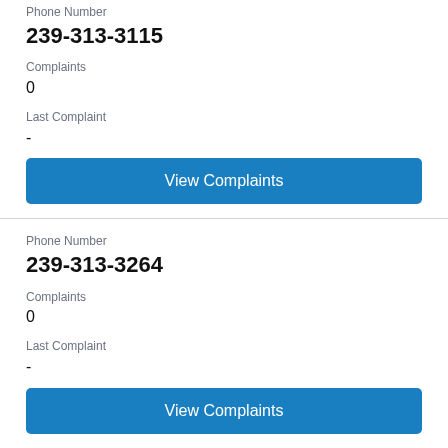Phone Number
239-313-3115
Complaints
0
Last Complaint
-
View Complaints
Phone Number
239-313-3264
Complaints
0
Last Complaint
-
View Complaints